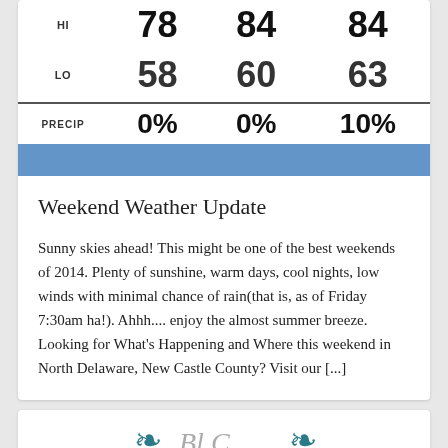|  | Col1 | Col2 | Col3 |
| --- | --- | --- | --- |
| HI | 78 | 84 | 84 |
| LO | 58 | 60 | 63 |
| PRECIP | 0% | 0% | 10% |
Weekend Weather Update
Sunny skies ahead! This might be one of the best weekends of 2014. Plenty of sunshine, warm days, cool nights, low winds with minimal chance of rain(that is, as of Friday 7:30am ha!). Ahhh.... enjoy the almost summer breeze. Looking for What's Happening and Where this weekend in North Delaware, New Castle County? Visit our [...]
[Figure (logo): Logo with teal leaf motifs on left and right with script text in center]